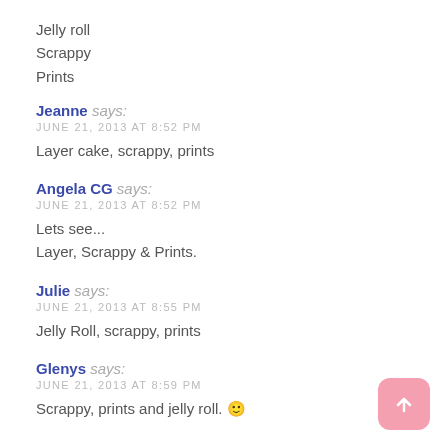Jelly roll
Scrappy
Prints
Jeanne says:
JUNE 21, 2013 AT 8:52 PM
Layer cake, scrappy, prints
Angela CG says:
JUNE 21, 2013 AT 8:52 PM
Lets see...
Layer, Scrappy & Prints.
Julie says:
JUNE 21, 2013 AT 8:55 PM
Jelly Roll, scrappy, prints
Glenys says:
JUNE 21, 2013 AT 8:59 PM
Scrappy, prints and jelly roll. 🙂